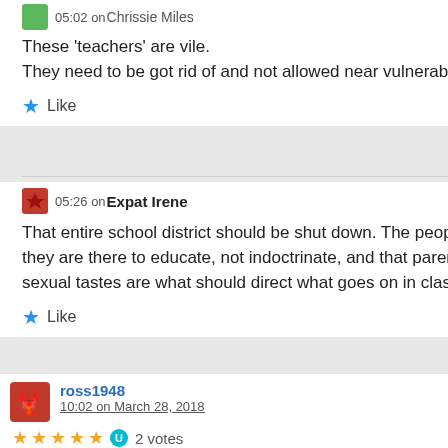05:02 on Chrissie Miles  Reply
These ‘teachers’ are vile.
They need to be got rid of and not allowed near vulnerable children, or any children.
★ Like
05:26 on Expat Irene  Reply
That entire school district should be shut down. The people in charge do not understand that they are there to educate, not indoctrinate, and that parents rights and not twisted teachers sexual tastes are what should direct what goes on in classrooms, all day and every day.
★ Like
ross1948
10:02 on March 28, 2018
Reply  [link]
★★★★★ 2 votes
It’s been a fine sunny Jakarta day here, so far, me back in my front yard, numerous coffees for breakfast ( yes, another little bit of partying last